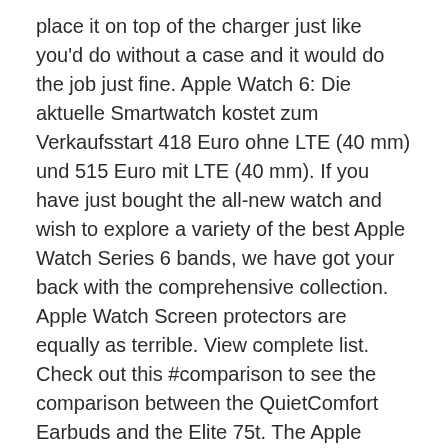place it on top of the charger just like you'd do without a case and it would do the job just fine. Apple Watch 6: Die aktuelle Smartwatch kostet zum Verkaufsstart 418 Euro ohne LTE (40 mm) und 515 Euro mit LTE (40 mm). If you have just bought the all-new watch and wish to explore a variety of the best Apple Watch Series 6 bands, we have got your back with the comprehensive collection. Apple Watch Screen protectors are equally as terrible. View complete list. Check out this #comparison to see the comparison between the QuietComfort Earbuds and the Elite 75t. The Apple Watch Series 6 is not only the best Apple Watch available, it's the best smartwatch on the market. I love wearing my Apple Watch sans case. This slim TPU bumper case for the Apple Watch Series 6 and Apple Watch SE is designed by Caseology. Misxi Black Hard Screen Protector Case. In general, I'm underwhelmed by Apple Watch accessories. SLYEN 6 Pack Apple Watch Case with Ultra-Thin Screen Protector